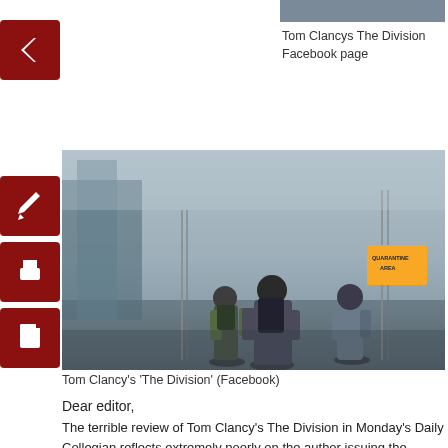[Figure (screenshot): Partial top image of Tom Clancy's The Division Facebook page]
Tom Clancys The Division Facebook page
[Figure (photo): Three soldiers/agents in gear walking away through a foggy urban street from Tom Clancy's The Division Facebook page]
Tom Clancy's 'The Division' (Facebook)
Dear editor,
The terrible review of Tom Clancy's The Division in Monday's Daily Collegian reflects extremely poorly on the author issuing the review, and The Daily Collegian. A retraction should be issued, and so should apologies – one to readers for allowing such poor content to be printed, and also another to video gamers insulted with Nate's